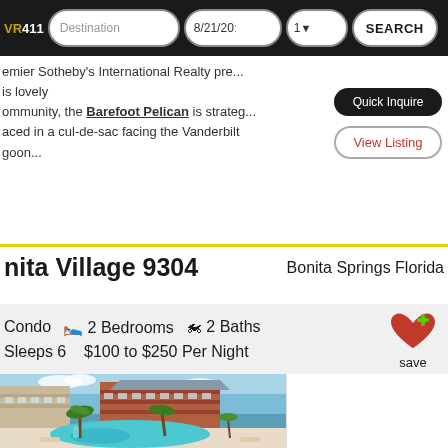VR411 — Destination | 8/21/20 | 1 | SEARCH
...emier Sotheby's International Realty pre... is lovely... ommunity, the Barefoot Pelican is strateg... aced in a cul-de-sac facing the Vanderbilt... goon...
Quick Inquire | View Listing
nita Village 9304
Bonita Springs Florida
Condo  2 Bedrooms  2 Baths  Sleeps 6  $100 to $250 Per Night
[Figure (photo): Aerial/ground view of a resort condominium complex with a large curved pool, palm trees, and multi-story brick/tan buildings under a blue sky.]